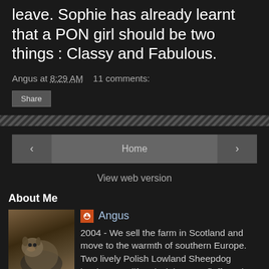leave. Sophie has already learnt that a PON girl should be two things : Classy and Fabulous.
Angus at 8:29 AM    11 comments:
Share
Home
View web version
About Me
Angus
2004 - We sell the farm in Scotland and move to the warmth of southern Europe. Two lively Polish Lowland Sheepdog brothers - Wilf and Digby - our fluffy,patient and comical companions. After a year in Provence we move to Italy to restore a hilltop Roman watchtower . Following a rather unpleasant 'housejacking' we left Italy in late 2009 for new adventures in South West France . We are now getting to grips with